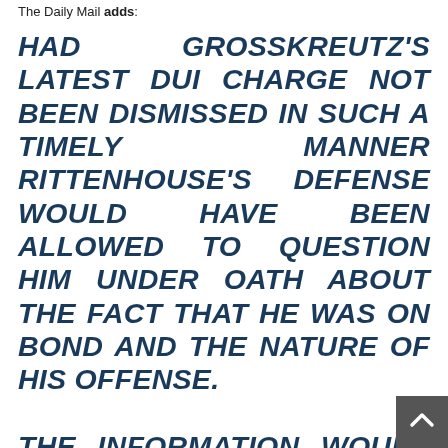The Daily Mail adds:
HAD GROSSKREUTZ'S LATEST DUI CHARGE NOT BEEN DISMISSED IN SUCH A TIMELY MANNER RITTENHOUSE'S DEFENSE WOULD HAVE BEEN ALLOWED TO QUESTION HIM UNDER OATH ABOUT THE FACT THAT HE WAS ON BOND AND THE NATURE OF HIS OFFENSE.

THE INFORMATION WOULD HAVE SEVERELY DAMAGED GROSSKREUTZ'S CREDIBILITY AND ERODED THE WHOLESOME IMAGE OF A LAW-ABIDING CITIZEN